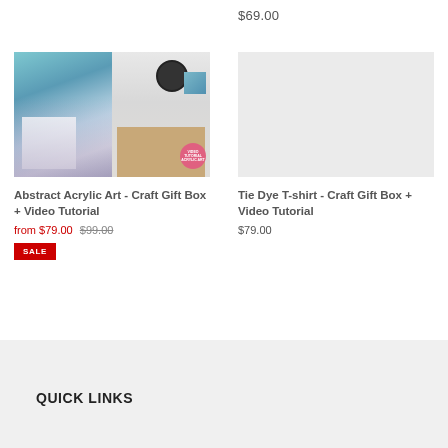$69.00
[Figure (photo): Abstract Acrylic Art craft gift box with art supplies and a room with a mirror and table displaying a painting]
Abstract Acrylic Art - Craft Gift Box + Video Tutorial
from $79.00  $99.00
SALE
[Figure (photo): Tie Dye T-shirt craft gift box placeholder image (light gray)]
Tie Dye T-shirt - Craft Gift Box + Video Tutorial
$79.00
QUICK LINKS